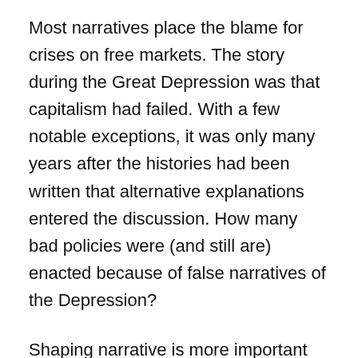Most narratives place the blame for crises on free markets. The story during the Great Depression was that capitalism had failed. With a few notable exceptions, it was only many years after the histories had been written that alternative explanations entered the discussion. How many bad policies were (and still are) enacted because of false narratives of the Depression?
Shaping narrative is more important than winning policy battles. A good policy in which the public has no faith will be charged with